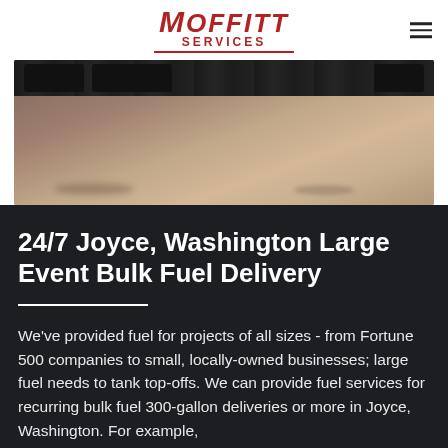Moffitt Services
[Figure (photo): Outdoor scene showing vehicles/trailers on a dirt/gravel area, viewed from above, with sandy ground visible below]
24/7 Joyce, Washington Large Event Bulk Fuel Delivery
We've provided fuel for projects of all sizes - from Fortune 500 companies to small, locally-owned businesses; large fuel needs to tank top-offs. We can provide fuel services for recurring bulk fuel 300-gallon deliveries or more in Joyce, Washington. For example,